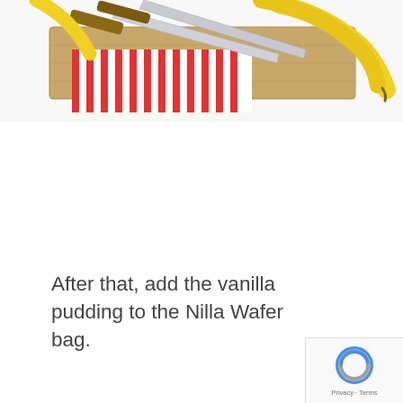[Figure (photo): Top portion of a food preparation photo showing bananas, a knife, cutting board, and red-and-white striped cloth/packaging on a white background. The image is cropped showing only the top portion.]
After that, add the vanilla pudding to the Nilla Wafer bag.